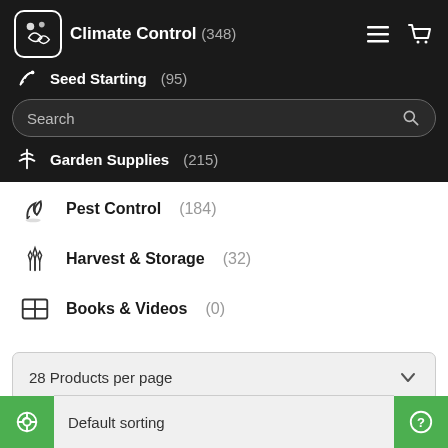Climate Control (348)
Seed Starting (95)
Garden Supplies (215)
Pest Control (184)
Harvest & Storage (32)
Books & Videos (0)
28 Products per page
Default sorting